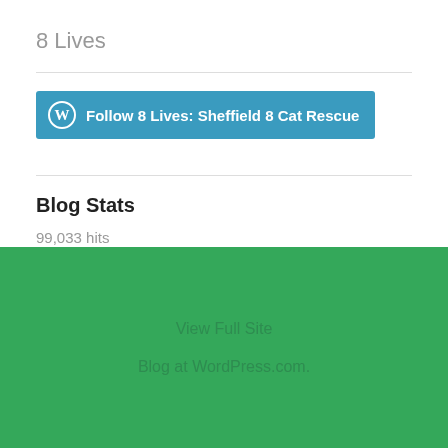8 Lives
[Figure (other): WordPress Follow button: Follow 8 Lives: Sheffield 8 Cat Rescue]
Blog Stats
99,033 hits
View Full Site
Blog at WordPress.com.